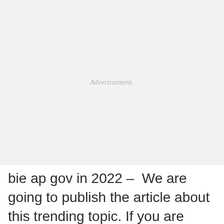[Figure (other): Advertisement placeholder box with light gray background and italic 'Advertisement.' text centered]
bie ap gov in 2022 –  We are going to publish the article about this trending topic. If you are excited to know about bie ap gov in 2022 then just read the